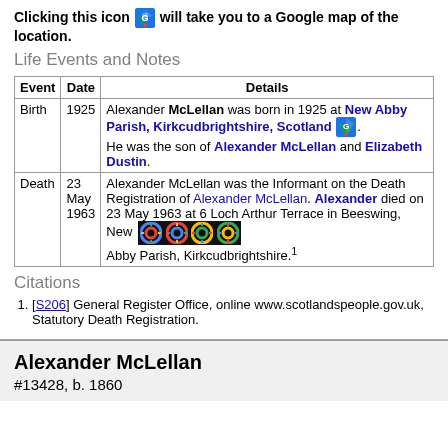Clicking this icon [map icon] will take you to a Google map of the location.
Life Events and Notes
| Event | Date | Details |
| --- | --- | --- |
| Birth | 1925 | Alexander McLellan was born in 1925 at New Abby Parish, Kirkcudbrightshire, Scotland [map icon]. He was the son of Alexander McLellan and Elizabeth Dustin. |
| Death | 23 May 1963 | Alexander McLellan was the Informant on the Death Registration of Alexander McLellan. Alexander died on 23 May 1963 at 6 Loch Arthur Terrace in Beeswing, New Abby Parish, Kirkcudbrightshire.[1] |
Citations
[S206] General Register Office, online www.scotlandspeople.gov.uk, Statutory Death Registration.
Alexander McLellan
#13428, b. 1860